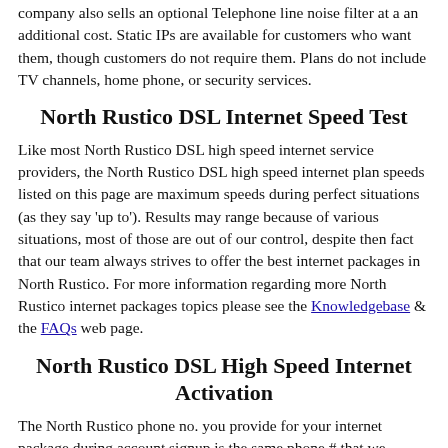company also sells an optional Telephone line noise filter at a an additional cost. Static IPs are available for customers who want them, though customers do not require them. Plans do not include TV channels, home phone, or security services.
North Rustico DSL Internet Speed Test
Like most North Rustico DSL high speed internet service providers, the North Rustico DSL high speed internet plan speeds listed on this page are maximum speeds during perfect situations (as they say 'up to'). Results may range because of various situations, most of those are out of our control, despite then fact that our team always strives to offer the best internet packages in North Rustico. For more information regarding more North Rustico internet packages topics please see the Knowledgebase & the FAQs web page.
North Rustico DSL High Speed Internet Activation
The North Rustico phone no. you provide for your internet package during account signup is the same phone # that we provide to the North Rustico DSL Internet Installer, who will